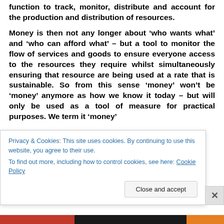function to track, monitor, distribute and account for the production and distribution of resources.
Money is then not any longer about ‘who wants what’ and ‘who can afford what’ – but a tool to monitor the flow of services and goods to ensure everyone access to the resources they require whilst simultaneously ensuring that resource are being used at a rate that is sustainable. So from this sense ‘money’ won’t be ‘money’ anymore as how we know it today – but will only be used as a tool of measure for practical purposes. We term it ‘money’
Privacy & Cookies: This site uses cookies. By continuing to use this website, you agree to their use.
To find out more, including how to control cookies, see here: Cookie Policy